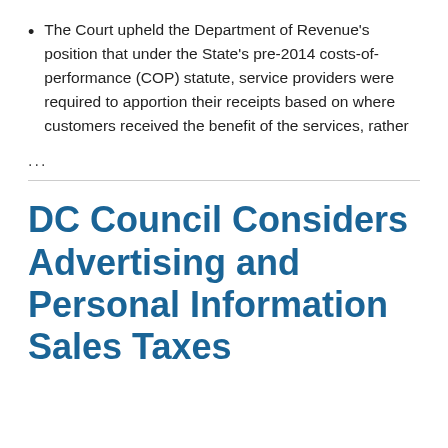The Court upheld the Department of Revenue's position that under the State's pre-2014 costs-of-performance (COP) statute, service providers were required to apportion their receipts based on where customers received the benefit of the services, rather
...
DC Council Considers Advertising and Personal Information Sales Taxes